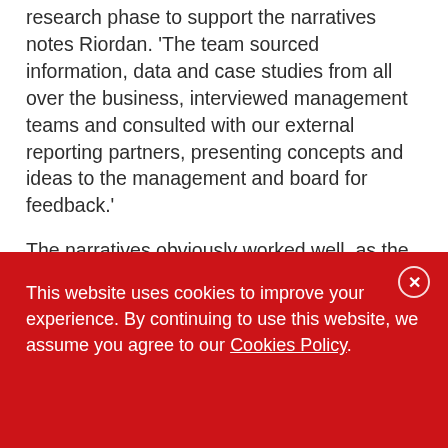research phase to support the narratives notes Riordan. 'The team sourced information, data and case studies from all over the business, interviewed management teams and consulted with our external reporting partners, presenting concepts and ideas to the management and board for feedback.'
The narratives obviously worked well, as the numbers connected to the report are impressive: a notable 30 per cent increase in requests for
This website uses cookies to improve your experience. By continuing to use this website, we assume you agree to our Cookies Policy.